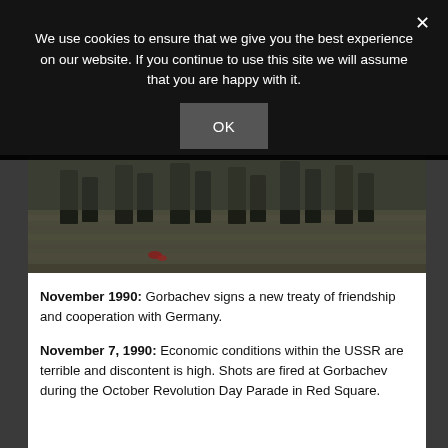We use cookies to ensure that we give you the best experience on our website. If you continue to use this site we will assume that you are happy with it.
[Figure (screenshot): Cookie consent dialog overlay with OK button and close X on a dark background, above a webpage showing marching soldiers on cobblestones]
[Figure (photo): Photograph showing legs and boots of marching soldiers on cobblestones, likely a Soviet military parade]
November 1990: Gorbachev signs a new treaty of friendship and cooperation with Germany.
November 7, 1990: Economic conditions within the USSR are terrible and discontent is high. Shots are fired at Gorbachev during the October Revolution Day Parade in Red Square.